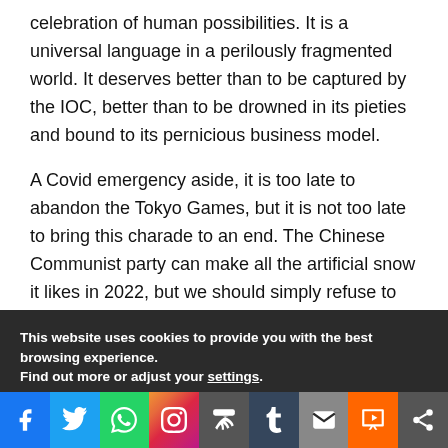celebration of human possibilities. It is a universal language in a perilously fragmented world. It deserves better than to be captured by the IOC, better than to be drowned in its pieties and bound to its pernicious business model.
A Covid emergency aside, it is too late to abandon the Tokyo Games, but it is not too late to bring this charade to an end. The Chinese Communist party can make all the artificial snow it likes in 2022, but we should simply refuse to watch. Paris 2024 can be the final fond farewell.
This website uses cookies to provide you with the best browsing experience.
Find out more or adjust your settings.
[Figure (infographic): Social media share bar with icons: Facebook (blue), Twitter (light blue), WhatsApp (green), Instagram (gradient), Print (dark grey), Tumblr (navy), Email (grey), Mix (orange), Share (grey)]